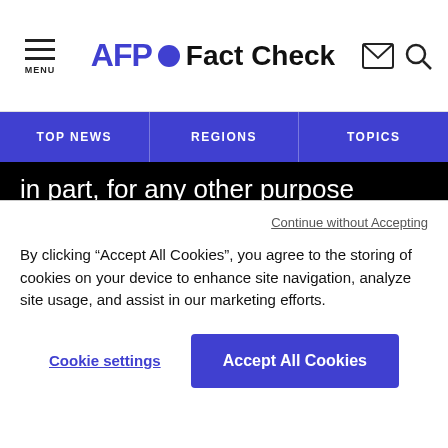MENU | AFP Fact Check
TOP NEWS | REGIONS | TOPICS
in part, for any other purpose and/or by any other means, without a specific licence agreement signed with AFP, is strictly prohibited. The subject matter depicted or included via links within the Fact Checking content is provided to the extent necessary for correct understanding of the verification of the information
Continue without Accepting
By clicking “Accept All Cookies”, you agree to the storing of cookies on your device to enhance site navigation, analyze site usage, and assist in our marketing efforts.
Cookie settings
Accept All Cookies